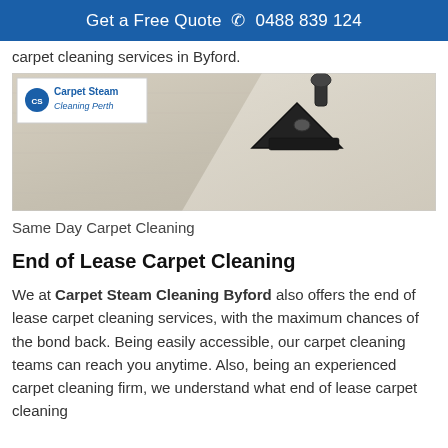Get a Free Quote ☎ 0488 839 124
carpet cleaning services in Byford.
[Figure (photo): A carpet cleaning machine head pressed against a light beige carpet, showing a clean path. Carpet Steam Cleaning Perth logo overlay in top-left corner.]
Same Day Carpet Cleaning
End of Lease Carpet Cleaning
We at Carpet Steam Cleaning Byford also offers the end of lease carpet cleaning services, with the maximum chances of the bond back. Being easily accessible, our carpet cleaning teams can reach you anytime. Also, being an experienced carpet cleaning firm, we understand what end of lease carpet cleaning